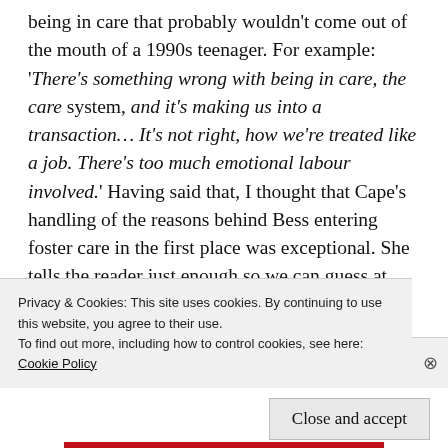being in care that probably wouldn't come out of the mouth of a 1990s teenager. For example: 'There's something wrong with being in care, the care system, and it's making us into a transaction... It's not right, how we're treated like a job. There's too much emotional labour involved.' Having said that, I thought that Cape's handling of the reasons behind Bess entering foster care in the first place was exceptional. She tells the reader just enough so we can guess at what happened but allows us to understand it through the fragmented lens of Bess's trauma, or what we might identify as complex PTSD
Privacy & Cookies: This site uses cookies. By continuing to use this website, you agree to their use.
To find out more, including how to control cookies, see here: Cookie Policy
Close and accept